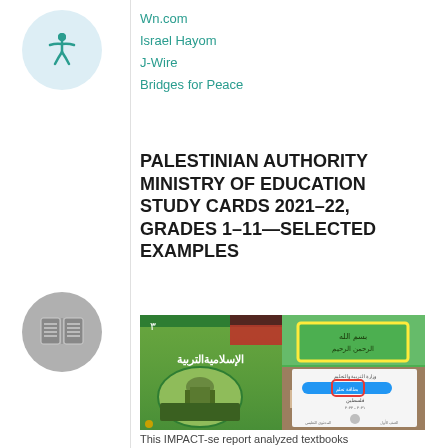Wn.com
Israel Hayom
J-Wire
Bridges for Peace
PALESTINIAN AUTHORITY MINISTRY OF EDUCATION STUDY CARDS 2021–22, GRADES 1–11—SELECTED EXAMPLES
[Figure (photo): Two book/document covers side by side. Left: green Arabic textbook cover titled 'التربية الإسلامية' (Islamic Education) with an image of a mosque and crowds. Right: green cover with a yellow rectangle highlighting Arabic text, and below it a white document with a blue button and a red rectangle highlight.]
This IMPACT-se report analyzed textbooks